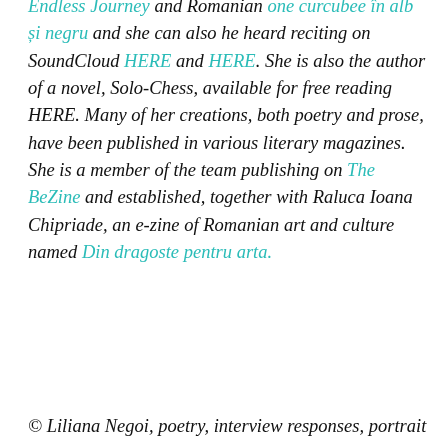and one in Romanian (aparenta curgere a lucrurilor). Texts of hers can be read both on her English blog Endless Journey and Romanian one curcubee în alb și negru and she can also he heard reciting on SoundCloud HERE and HERE. She is also the author of a novel, Solo-Chess, available for free reading HERE. Many of her creations, both poetry and prose, have been published in various literary magazines. She is a member of the team publishing on The BeZine and established, together with Raluca Ioana Chipriade, an e-zine of Romanian art and culture named Din dragoste pentru arta.
© Liliana Negoi, poetry, interview responses, portrait